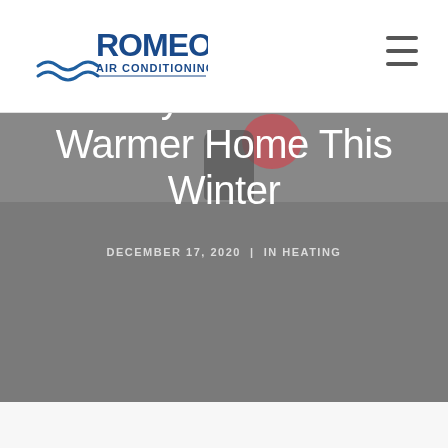[Figure (logo): Romeo Air Conditioning, Inc. logo with wave/wind graphic in blue]
[Figure (other): Hamburger menu icon (three horizontal lines)]
[Figure (photo): Grey hero banner with a person wearing a pink/red hat in the background, partially visible]
5 Ways to Have a Warmer Home This Winter
DECEMBER 17, 2020  |  IN HEATING